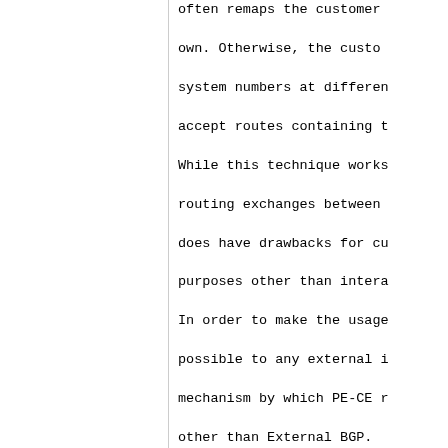often remaps the customer own.  Otherwise, the custo system numbers at differen accept routes containing t
While this technique works routing exchanges between does have drawbacks for cu purposes other than intera
In order to make the usage possible to any external i mechanism by which PE-CE r other than External BGP.
One can consider a BGP/MPL service interconnecting se model is not universal, it
Independently of the prese hierarchical design utili